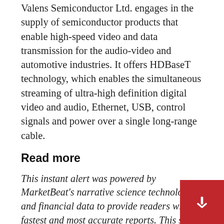Valens Semiconductor Ltd. engages in the supply of semiconductor products that enable high-speed video and data transmission for the audio-video and automotive industries. It offers HDBaseT technology, which enables the simultaneous streaming of ultra-high definition digital video and audio, Ethernet, USB, control signals and power over a single long-range cable.
Read more
This instant alert was powered by MarketBeat's narrative science technology and financial data to provide readers with the fastest and most accurate reports. This story was reviewed by MarketBeat's editorial team prior to publication. Please send questions or comments about this story to [email protected]